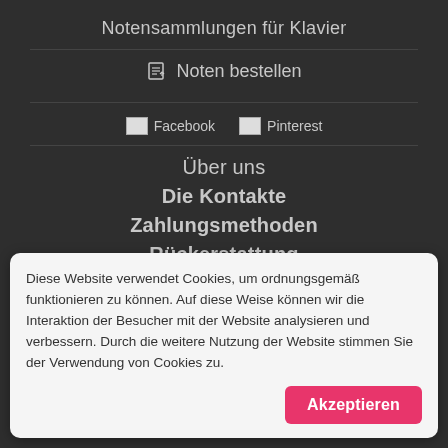Notensammlungen für Klavier
Noten bestellen
[Figure (other): Facebook social media icon placeholder image]
[Figure (other): Pinterest social media icon placeholder image]
Über uns
Die Kontakte
Zahlungsmethoden
Rückerstattung
Ric
Diese Website verwendet Cookies, um ordnungsgemäß funktionieren zu können. Auf diese Weise können wir die Interaktion der Besucher mit der Website analysieren und verbessern. Durch die weitere Nutzung der Website stimmen Sie der Verwendung von Cookies zu.
Akzeptieren